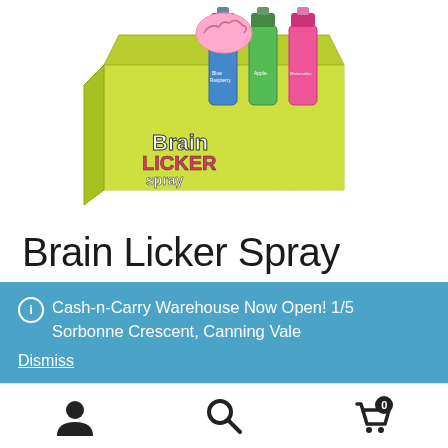[Figure (photo): Box of Brain Licker Spray candy products, yellow display box showing multiple spray bottles with Brain Licker branding in various flavors including blue raspberry and apple]
Brain Licker Spray
Cash-n-Carry Warehouse Now Open! 1/5 Sorbonne Crescent, Canning Vale
Dismiss
[Figure (infographic): Bottom navigation bar with user account icon, search icon, and shopping cart icon with badge showing 0]